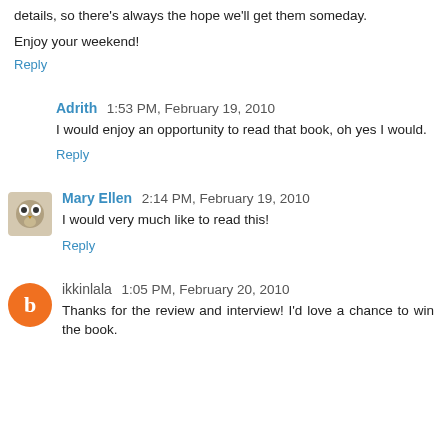details, so there's always the hope we'll get them someday.
Enjoy your weekend!
Reply
Adrith  1:53 PM, February 19, 2010
I would enjoy an opportunity to read that book, oh yes I would.
Reply
Mary Ellen  2:14 PM, February 19, 2010
I would very much like to read this!
Reply
ikkinlala  1:05 PM, February 20, 2010
Thanks for the review and interview! I'd love a chance to win the book.